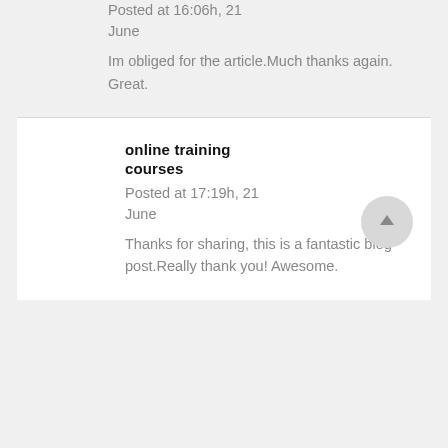Posted at 16:06h, 21 June
Im obliged for the article.Much thanks again. Great.
online training courses
Posted at 17:19h, 21 June
Thanks for sharing, this is a fantastic blog post.Really thank you! Awesome.